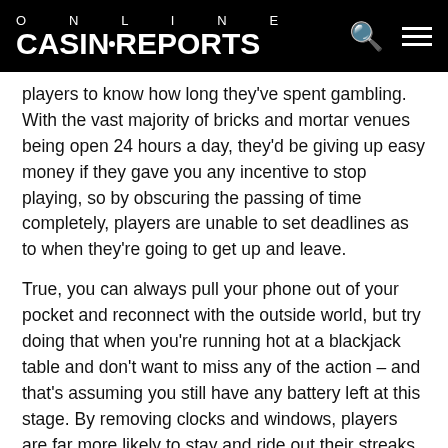ONLINE CASINOREPORTS
players to know how long they've spent gambling. With the vast majority of bricks and mortar venues being open 24 hours a day, they'd be giving up easy money if they gave you any incentive to stop playing, so by obscuring the passing of time completely, players are unable to set deadlines as to when they're going to get up and leave.
True, you can always pull your phone out of your pocket and reconnect with the outside world, but try doing that when you're running hot at a blackjack table and don't want to miss any of the action – and that's assuming you still have any battery left at this stage. By removing clocks and windows, players are far more likely to stay and ride out their streaks rather than simply leaving at a set time.
2) Social Lubrication
They say in life there's no such thing as a free meal, but try telling that to any regular player at a bricks and mortar